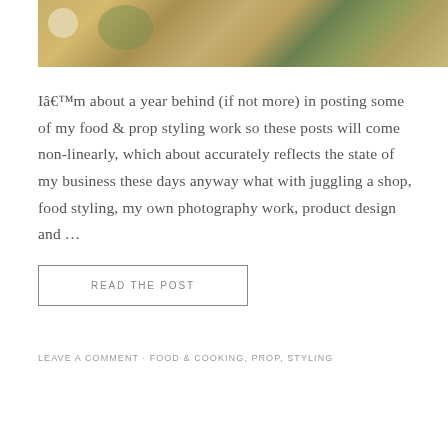[Figure (photo): Overhead food photograph on wooden surface showing a bowl of green soup, fresh herbs, garlic cloves, oil bottle, and spoons with seeds]
Iâ€™m about a year behind (if not more) in posting some of my food & prop styling work so these posts will come non-linearly, which about accurately reflects the state of my business these days anyway what with juggling a shop, food styling, my own photography work, product design and …
READ THE POST
LEAVE A COMMENT · FOOD & COOKING, PROP, STYLING